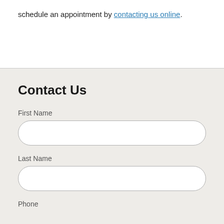schedule an appointment by contacting us online.
Contact Us
First Name
Last Name
Phone